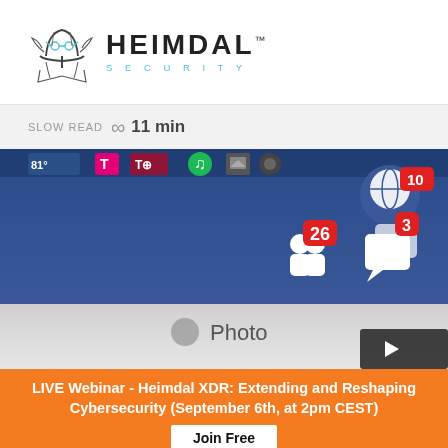[Figure (logo): Heimdal Security logo with viking helmet illustration and HEIMDAL SECURITY wordmark]
SLOW READ ∞ 11 min
[Figure (photo): Close-up of a smartphone screen showing Facebook app notifications: 26 friend requests, 3 messages, 10 globe/world notifications, 81° temperature widget, T-Mobile and Spotify icons visible. Bottom shows Photo button area.]
LIVE Webinar - Heimdal XDR: Extending and Reshaping Cybersecurity (September 6th, at 2pm CEST)
Join Free